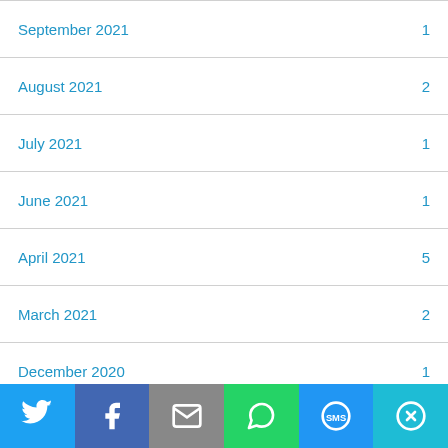September 2021  1
August 2021  2
July 2021  1
June 2021  1
April 2021  5
March 2021  2
December 2020  1
November 2020  1
[Figure (infographic): Social sharing bar with icons for Twitter, Facebook, Email, WhatsApp, SMS, and More]